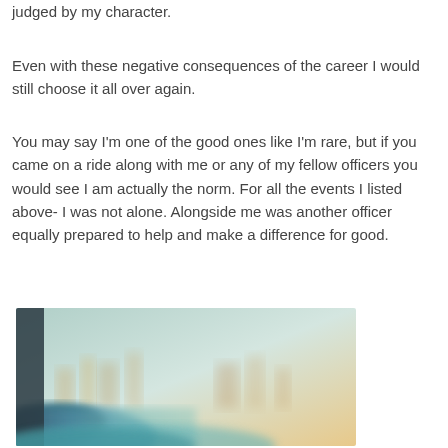judged by my character.
Even with these negative consequences of the career I would still choose it all over again.
You may say I'm one of the good ones like I'm rare, but if you came on a ride along with me or any of my fellow officers you would see I am actually the norm. For all the events I listed above- I was not alone. Alongside me was another officer equally prepared to help and make a difference for good.
[Figure (photo): A blurred outdoor photo with blue and teal tones in the foreground and a soft bokeh cityscape background with warm sunset colors.]